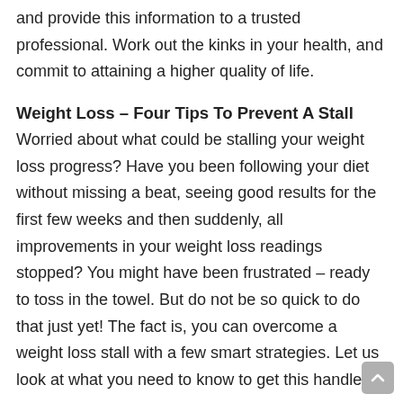and provide this information to a trusted professional. Work out the kinks in your health, and commit to attaining a higher quality of life.
Weight Loss – Four Tips To Prevent A Stall
Worried about what could be stalling your weight loss progress? Have you been following your diet without missing a beat, seeing good results for the first few weeks and then suddenly, all improvements in your weight loss readings stopped? You might have been frustrated – ready to toss in the towel. But do not be so quick to do that just yet! The fact is, you can overcome a weight loss stall with a few smart strategies. Let us look at what you need to know to get this handled.
Attractiveness and Physical Appearance